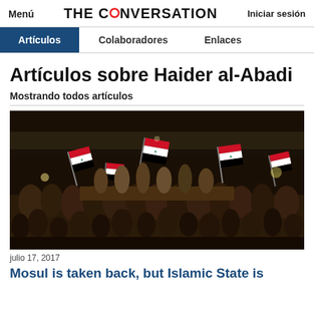Menú | THE CONVERSATION | Iniciar sesión
Artículos | Colaboradores | Enlaces
Artículos sobre Haider al-Abadi
Mostrando todos artículos
[Figure (photo): Crowd of people waving Iraqi flags at night, celebrating Mosul victory, 2017]
julio 17, 2017
Mosul is taken back, but Islamic State is